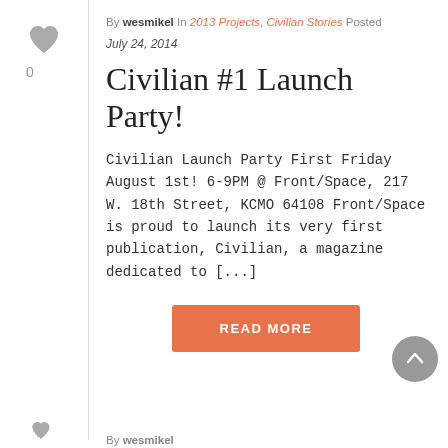[Figure (illustration): Heart/like icon in gray with count 0 below it, used as a like/vote button in the left sidebar]
By wesmikel In 2013 Projects, Civilian Stories Posted
July 24, 2014
Civilian #1 Launch Party!
Civilian Launch Party First Friday August 1st! 6-9PM @ Front/Space, 217 W. 18th Street, KCMO 64108 Front/Space is proud to launch its very first publication, Civilian, a magazine dedicated to [...]
[Figure (other): Orange 'READ MORE' button]
[Figure (other): Gray circular back-to-top button with upward arrow in bottom right corner]
By wesmikel